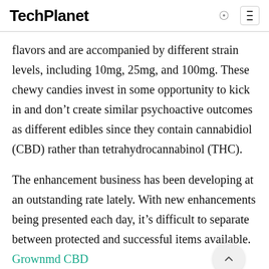TechPlanet
flavors and are accompanied by different strain levels, including 10mg, 25mg, and 100mg. These chewy candies invest in some opportunity to kick in and don't create similar psychoactive outcomes as different edibles since they contain cannabidiol (CBD) rather than tetrahydrocannabinol (THC).
The enhancement business has been developing at an outstanding rate lately. With new enhancements being presented each day, it's difficult to separate between protected and successful items available. Grownmd CBD